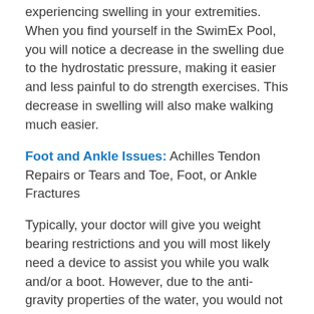experiencing swelling in your extremities. When you find yourself in the SwimEx Pool, you will notice a decrease in the swelling due to the hydrostatic pressure, making it easier and less painful to do strength exercises. This decrease in swelling will also make walking much easier.
Foot and Ankle Issues: Achilles Tendon Repairs or Tears and Toe, Foot, or Ankle Fractures
Typically, your doctor will give you weight bearing restrictions and you will most likely need a device to assist you while you walk and/or a boot. However, due to the anti-gravity properties of the water, you would not have to adhere to the restrictions. Other positive effects would be a decrease in swelling and less painful side effects. The pool helps you recover much faster because it